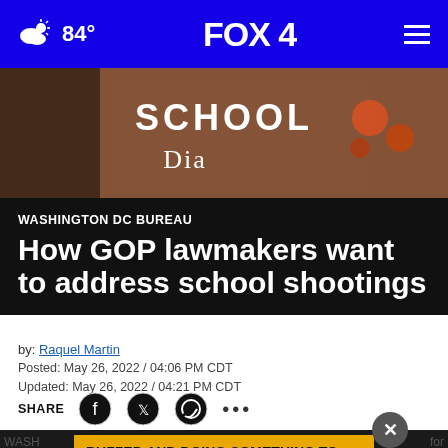84° FOX 4
[Figure (photo): Brick school building exterior with sign reading 'SCHOOL' and partial text below, autumn decorations visible]
WASHINGTON DC BUREAU
How GOP lawmakers want to address school shootings
by: Raquel Martin
Posted: May 26, 2022 / 04:06 PM CDT
Updated: May 26, 2022 / 04:21 PM CDT
SHARE [Facebook] [Twitter] [WhatsApp] [more]
[Figure (infographic): Advertisement overlay: 'BUZZED AND DOING SOMETHING TO MAKE YOURSELF OKAY TO DRIVE?' in yellow box]
WASH... for